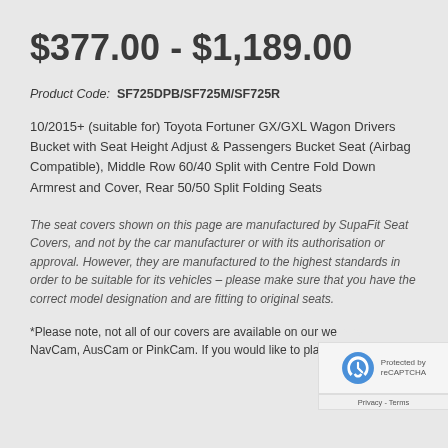$377.00 - $1,189.00
Product Code:  SF725DPB/SF725M/SF725R
10/2015+ (suitable for) Toyota Fortuner GX/GXL Wagon Drivers Bucket with Seat Height Adjust & Passengers Bucket Seat (Airbag Compatible), Middle Row 60/40 Split with Centre Fold Down Armrest and Cover, Rear 50/50 Split Folding Seats
The seat covers shown on this page are manufactured by SupaFit Seat Covers, and not by the car manufacturer or with its authorisation or approval. However, they are manufactured to the highest standards in order to be suitable for its vehicles – please make sure that you have the correct model designation and are fitting to original seats.
*Please note, not all of our covers are available on our we... NavCam, AusCam or PinkCam. If you would like to place a